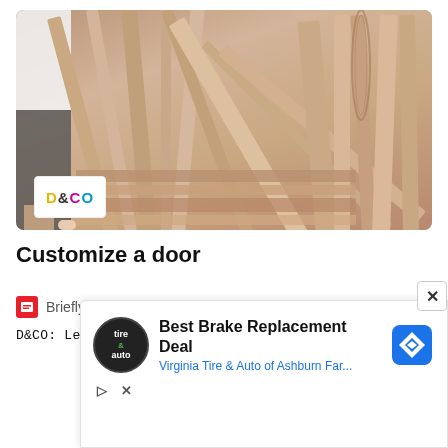[Figure (photo): Stack of wooden door molding strips/trim pieces photographed from close up, warm beige/tan colors. A person in white shirt visible on far left. D&CO logo in bottom left corner of image.]
Customize a door
Briefly
D&CO: Learn to customize a door This week, the D&C
[Figure (infographic): Advertisement: Best Brake Replacement Deal - Virginia Tire & Auto of Ashburn Far... with circular logo and blue diamond navigation icon. Close button (X) in top right corner.]